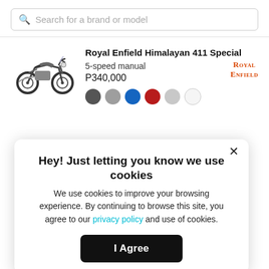Search for a brand or model
[Figure (illustration): Royal Enfield Himalayan 411 motorcycle side view, gray/black, adventure touring style]
Royal Enfield Himalayan 411 Special
5-speed manual
P340,000
[Figure (logo): Royal Enfield brand logo in orange serif text]
Color dots: dark gray, medium gray, blue, red, light gray, white
Hey! Just letting you know we use cookies
We use cookies to improve your browsing experience. By continuing to browse this site, you agree to our privacy policy and use of cookies.
I Agree